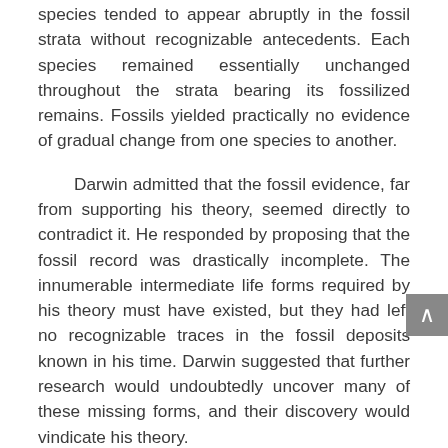species tended to appear abruptly in the fossil strata without recognizable antecedents. Each species remained essentially unchanged throughout the strata bearing its fossilized remains. Fossils yielded practically no evidence of gradual change from one species to another.
Darwin admitted that the fossil evidence, far from supporting his theory, seemed directly to contradict it. He responded by proposing that the fossil record was drastically incomplete. The innumerable intermediate life forms required by his theory must have existed, but they had left no recognizable traces in the fossil deposits known in his time. Darwin suggested that further research would undoubtedly uncover many of these missing forms, and their discovery would vindicate his theory.
For many years orthodox evolutionary opinion has adhered to Darwin's basic views. But dissenting voices have increasingly been heard. At the recent meeting of evolutionists in Chicago, Niles Eldredge, a paleontologist from